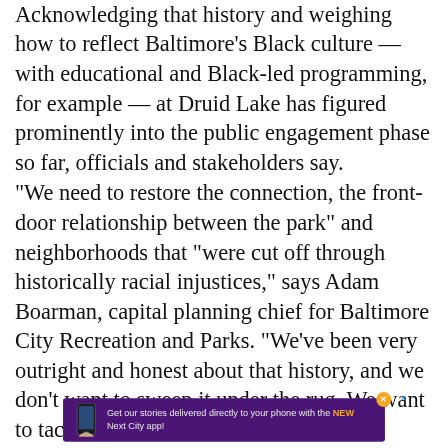Acknowledging that history and weighing how to reflect Baltimore’s Black culture — with educational and Black-led programming, for example — at Druid Lake has figured prominently into the public engagement phase so far, officials and stakeholders say.
“We need to restore the connection, the front-door relationship between the park” and neighborhoods that “were cut off through historically racial injustices,” says Adam Boarman, capital planning chief for Baltimore City Recreation and Parks. “We’ve been very outright and honest about that history, and we don’t want to sweep it under the rug. We want to tackle it head on.”
[Figure (other): Advertisement banner with purple background showing a hand holding a smartphone, with text: 'Get our stories delivered directly to your phone with the NEW Next City app!'. Has an orange close button and a blue X in the corner.]